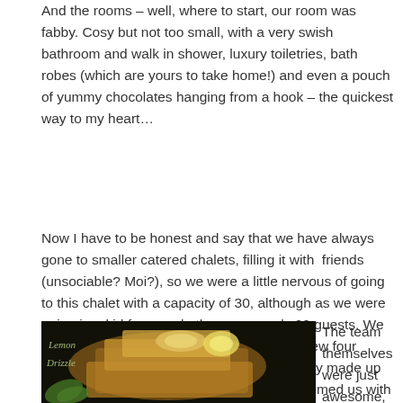And the rooms – well, where to start, our room was fabby. Cosy but not too small, with a very swish bathroom and walk in shower, luxury toiletries, bath robes (which are yours to take home!) and even a pouch of yummy chocolates hanging from a hook – the quickest way to my heart…
Now I have to be honest and say that we have always gone to smaller catered chalets, filling it with  friends (unsociable? Moi?), so we were a little nervous of going to this chalet with a capacity of 30, although as we were going in a kid free week, there were only 20 guests. We needn't have worried though, we already knew four others going and the rest of the group, largely made up of returning guests were great fun and welcomed us with open arms. It felt like a chalet full of friends.
[Figure (photo): Photo of lemon drizzle cake slices stacked on a dark background with lemon slices and green leaves, with handwritten text 'Lemon Drizzle' visible]
The team themselves were just awesome, friendly, fun and soooo helpful, they really did make our trip extra special. Dani and Andrew, Dave and Sharnelle